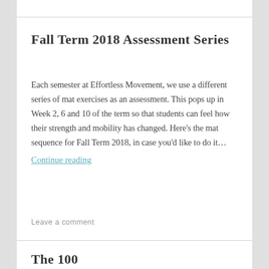Fall Term 2018 Assessment Series
Each semester at Effortless Movement, we use a different series of mat exercises as an assessment. This pops up in Week 2, 6 and 10 of the term so that students can feel how their strength and mobility has changed. Here's the mat sequence for Fall Term 2018, in case you'd like to do it…
Continue reading
Leave a comment
The 100